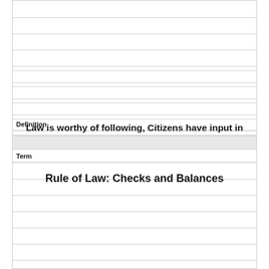Definition
Law is worthy of following, Citizens have input in laws, citizens respect the law & think they are fair
Term
Rule of Law: Checks and Balances